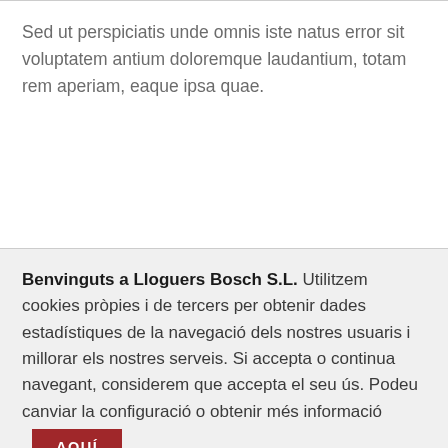Sed ut perspiciatis unde omnis iste natus error sit voluptatem antium doloremque laudantium, totam rem aperiam, eaque ipsa quae.
Benvinguts a Lloguers Bosch S.L. Utilitzem cookies pròpies i de tercers per obtenir dades estadístiques de la navegació dels nostres usuaris i millorar els nostres serveis. Si accepta o continua navegant, considerem que accepta el seu ús. Podeu canviar la configuració o obtenir més informació AQUÍ ×